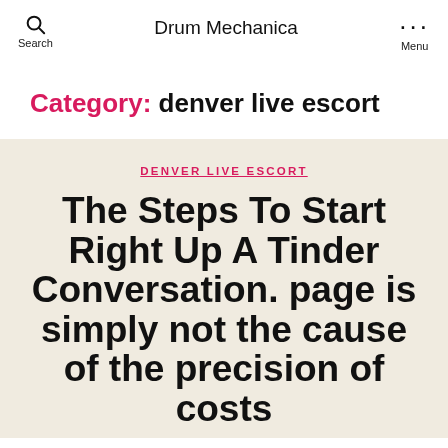Search  Drum Mechanica  Menu
Category: denver live escort
DENVER LIVE ESCORT
The Steps To Start Right Up A Tinder Conversation. page is simply not the cause of the precision of costs